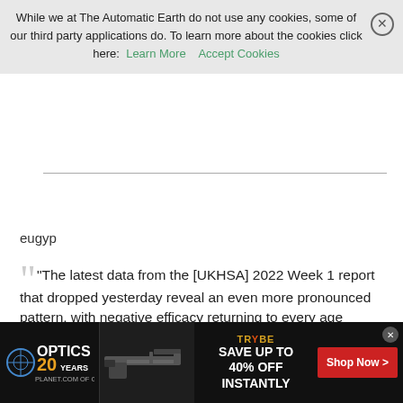While we at The Automatic Earth do not use any cookies, some of our third party applications do. To learn more about the cookies click here: Learn More   Accept Cookies
eugyp
"The latest data from the [UKHSA] 2022 Week 1 report that dropped yesterday reveal an even more pronounced pattern, with negative efficacy returning to every age bracket over 18" https://t.co/dDYlnlr1ce pic.twitter.com/YUBVONag2F
— Doctor Fate (@georg3) January 7, 2022
[Figure (infographic): Advertisement banner for OpticsPlanet 20 Years of Gear and Trybe - Save up to 40% off instantly, with a Shop Now button and image of a rifle]